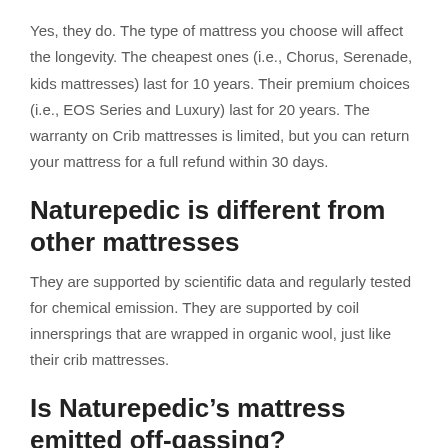Yes, they do. The type of mattress you choose will affect the longevity. The cheapest ones (i.e., Chorus, Serenade, kids mattresses) last for 10 years. Their premium choices (i.e., EOS Series and Luxury) last for 20 years. The warranty on Crib mattresses is limited, but you can return your mattress for a full refund within 30 days.
Naturepedic is different from other mattresses
They are supported by scientific data and regularly tested for chemical emission. They are supported by coil innersprings that are wrapped in organic wool, just like their crib mattresses.
Is Naturepedic’s mattress emitted off-gassing?
It doesn’t. Although there may be a slight scent when you open a